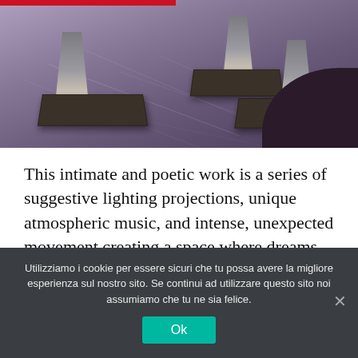[Figure (photo): A dance performance stage with a purple/lavender lit floor. Three dancers are visible from waist down, barefoot, each standing on a dark wooden rectangular box/platform. A dark curved shape is visible in the bottom right corner.]
This intimate and poetic work is a series of suggestive lighting projections, unique atmospheric music, and intense, unexpected movement creating a space where dreams and desires take form in a spectrum of emotions.
Utilizziamo i cookie per essere sicuri che tu possa avere la migliore esperienza sul nostro sito. Se continui ad utilizzare questo sito noi assumiamo che tu ne sia felice.